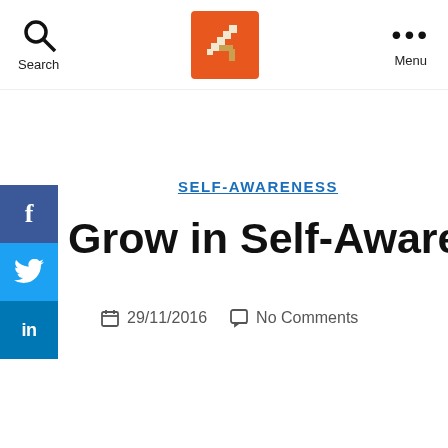Search | [logo/sword icon] | Menu
SELF-AWARENESS
Grow in Self-Awareness
29/11/2016   No Comments